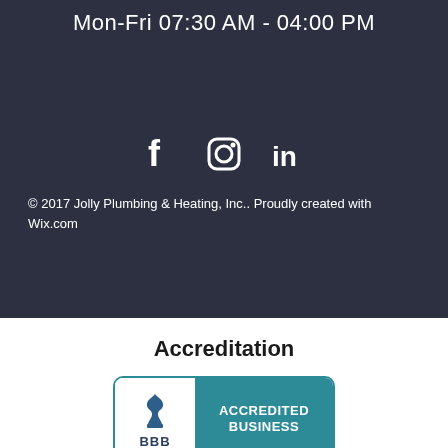Mon-Fri 07:30 AM - 04:00 PM
[Figure (illustration): Social media icons: Facebook, Instagram, LinkedIn in white on dark background]
© 2017 Jolly Plumbing & Heating, Inc.. Proudly created with Wix.com
Accreditation
[Figure (logo): BBB Accredited Business logo with teal background on right side and BBB flame logo on white left side]